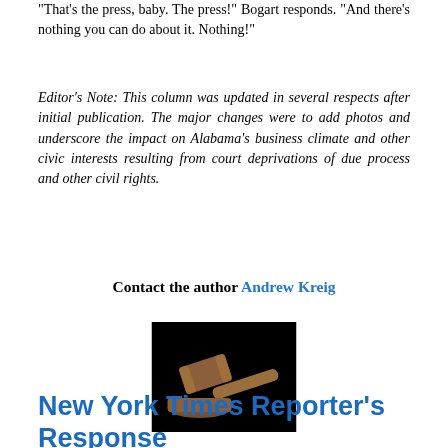"That's the press, baby. The press!" Bogart responds. "And there's nothing you can do about it. Nothing!"
Editor's Note: This column was updated in several respects after initial publication. The major changes were to add photos and underscore the impact on Alabama's business climate and other civic interests resulting from court deprivations of due process and other civil rights.
Contact the author Andrew Kreig
[Figure (photo): A wooden gavel on a black background]
New York Times Reporter's Response